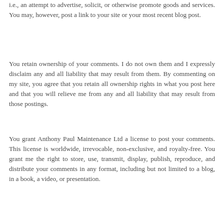i.e., an attempt to advertise, solicit, or otherwise promote goods and services. You may, however, post a link to your site or your most recent blog post.
You retain ownership of your comments. I do not own them and I expressly disclaim any and all liability that may result from them. By commenting on my site, you agree that you retain all ownership rights in what you post here and that you will relieve me from any and all liability that may result from those postings.
You grant Anthony Paul Maintenance Ltd a license to post your comments. This license is worldwide, irrevocable, non-exclusive, and royalty-free. You grant me the right to store, use, transmit, display, publish, reproduce, and distribute your comments in any format, including but not limited to a blog, in a book, a video, or presentation.